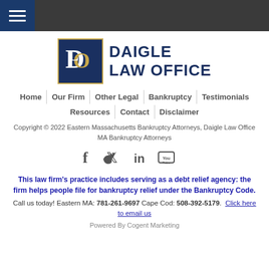[Figure (logo): Daigle Law Office logo with DLO monogram in navy box with gold border, and DAIGLE LAW OFFICE text in navy]
Home | Our Firm | Other Legal | Bankruptcy | Testimonials | Resources | Contact | Disclaimer
Copyright © 2022 Eastern Massachusetts Bankruptcy Attorneys, Daigle Law Office MA Bankruptcy Attorneys
[Figure (infographic): Social media icons: Facebook, Twitter, LinkedIn, YouTube]
This law firm's practice includes serving as a debt relief agency: the firm helps people file for bankruptcy relief under the Bankruptcy Code.
Call us today! Eastern MA: 781-261-9697 Cape Cod: 508-392-5179. Click here to email us
Powered By Cogent Marketing